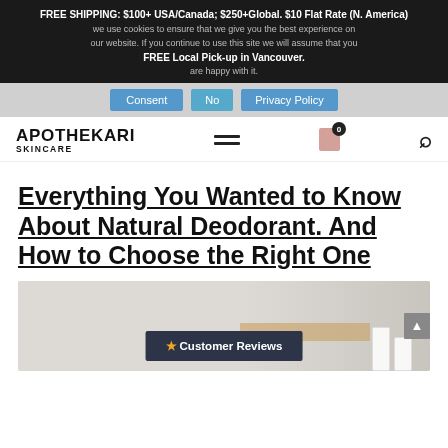FREE SHIPPING: $100+ USA/Canada; $250+Global. $10 Flat Rate (N. America)
FREE Local Pick-up in Vancouver.
We use cookies to ensure that we give you the best experience on our website. If you continue to use this site we will assume that you are happy with it.
Consent | No | Privacy Policy
APOTHEKARI SKINCARE
Everything You Wanted to Know About Natural Deodorant. And How to Choose the Right One
[Figure (photo): Photo of skincare product jars on a wooden shelf against a light background, with a dark navy overlay panel showing '★ Customer Reviews']